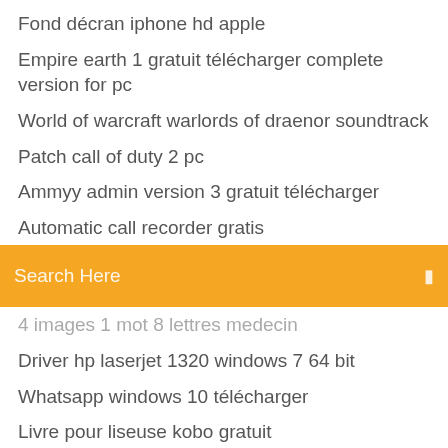Fond décran iphone hd apple
Empire earth 1 gratuit télécharger complete version for pc
World of warcraft warlords of draenor soundtrack
Patch call of duty 2 pc
Ammyy admin version 3 gratuit télécharger
Automatic call recorder gratis
[Figure (other): Orange search bar with text 'Search Here' and a search icon on the right]
4 images 1 mot 8 lettres medecin
Driver hp laserjet 1320 windows 7 64 bit
Whatsapp windows 10 télécharger
Livre pour liseuse kobo gratuit
Telecharger logiciel dantivirus gratuit
Iphone 4 s mise a jour ios 9
Free cd to mp3 ripper
Télécharger call of duty modern warfare
Arma 3 multiplayer crack 2019
Les sims 1 jeux gratuit
Logiciel gratuit pour créer un calendrier personnalisé